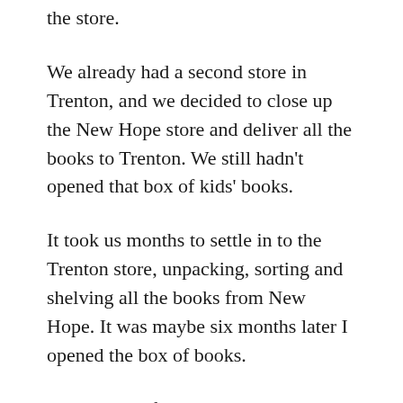the store.
We already had a second store in Trenton, and we decided to close up the New Hope store and deliver all the books to Trenton. We still hadn't opened that box of kids' books.
It took us months to settle in to the Trenton store, unpacking, sorting and shelving all the books from New Hope. It was maybe six months later I opened the box of books.
It included a first edition early Maurice Sendak A Hole is the Dig ($150) and a first edition Tasha Tudor ($800). But the mind blowing book was a first edition (200/200 on the price tab of the flap) of The Cat in the Hat. It was in perfect condition, no single mark or scuff, no price clip. It looked unread. List price? $7,000. (We eventually sold it